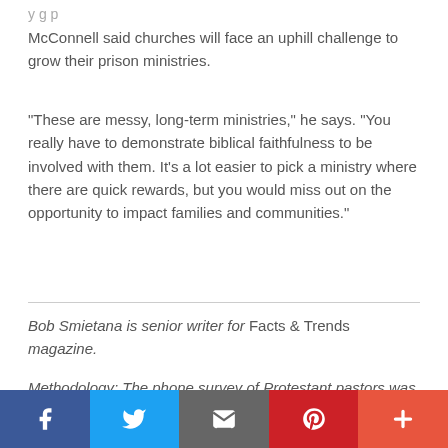y g p (partial/cut off at top)
McConnell said churches will face an uphill challenge to grow their prison ministries.
"These are messy, long-term ministries," he says. "You really have to demonstrate biblical faithfulness to be involved with them. It's a lot easier to pick a ministry where there are quick rewards, but you would miss out on the opportunity to impact families and communities."
Bob Smietana is senior writer for Facts & Trends magazine.
Methodology: The phone survey of Protestant pastors was conducted March 9-24, 2016. The calling list was a